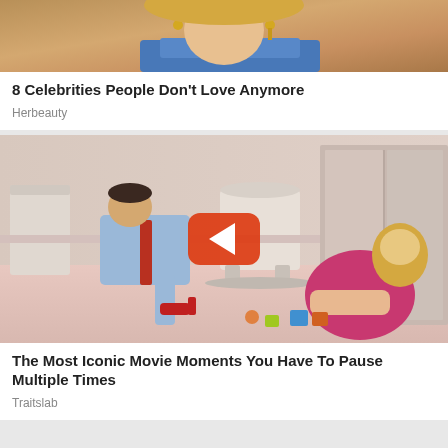[Figure (photo): Cropped image of a celebrity woman with blue outfit and earrings]
8 Celebrities People Don't Love Anymore
Herbeauty
[Figure (photo): Movie scene showing a man in a suit leaning over a woman in a pink dress on a pink carpet, with a red YouTube play button overlay]
The Most Iconic Movie Moments You Have To Pause Multiple Times
Traitslab